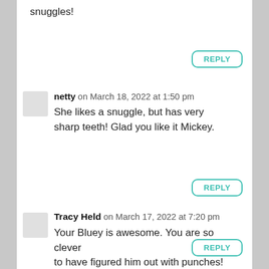snuggles!
REPLY
netty on March 18, 2022 at 1:50 pm
She likes a snuggle, but has very sharp teeth! Glad you like it Mickey.
REPLY
Tracy Held on March 17, 2022 at 7:20 pm
Your Bluey is awesome. You are so clever to have figured him out with punches!
REPLY